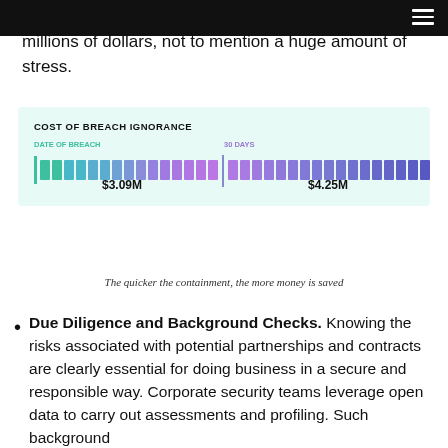millions of dollars, not to mention a huge amount of stress.
[Figure (infographic): Cost of Breach Ignorance infographic showing two bar segments. Left segment labeled 'DATE OF BREACH' with teal/green colored blocks and value $3.09M. Right segment labeled '30 DAYS' with purple colored blocks and value $4.25M. A vertical divider separates the two segments.]
The quicker the containment, the more money is saved
Due Diligence and Background Checks. Knowing the risks associated with potential partnerships and contracts are clearly essential for doing business in a secure and responsible way. Corporate security teams leverage open data to carry out assessments and profiling. Such background